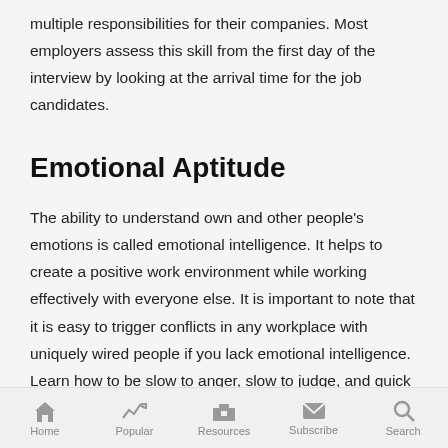multiple responsibilities for their companies. Most employers assess this skill from the first day of the interview by looking at the arrival time for the job candidates.
Emotional Aptitude
The ability to understand own and other people's emotions is called emotional intelligence. It helps to create a positive work environment while working effectively with everyone else. It is important to note that it is easy to trigger conflicts in any workplace with uniquely wired people if you lack emotional intelligence. Learn how to be slow to anger, slow to judge, and quick to
Home  Popular  Resources  Subscribe  Search